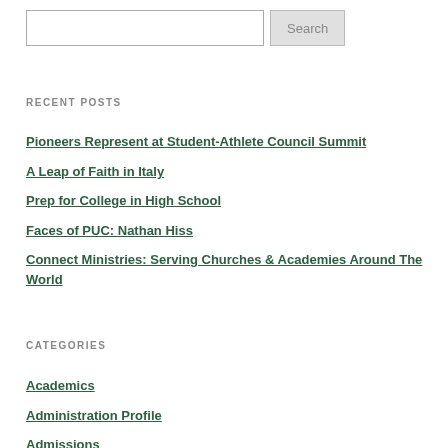RECENT POSTS
Pioneers Represent at Student-Athlete Council Summit
A Leap of Faith in Italy
Prep for College in High School
Faces of PUC: Nathan Hiss
Connect Ministries: Serving Churches & Academies Around The World
CATEGORIES
Academics
Administration Profile
Admissions